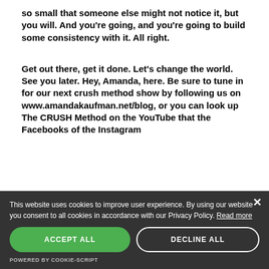so small that someone else might not notice it, but you will. And you're going, and you're going to build some consistency with it. All right.
Get out there, get it done. Let's change the world. See you later. Hey, Amanda, here. Be sure to tune in for our next crush method show by following us on www.amandakaufman.net/blog, or you can look up The CRUSH Method on the YouTube that the Facebooks of the Instagram
This website uses cookies to improve user experience. By using our website you consent to all cookies in accordance with our Privacy Policy. Read more
ACCEPT ALL
DECLINE ALL
POWERED BY COOKIE-SCRIPT